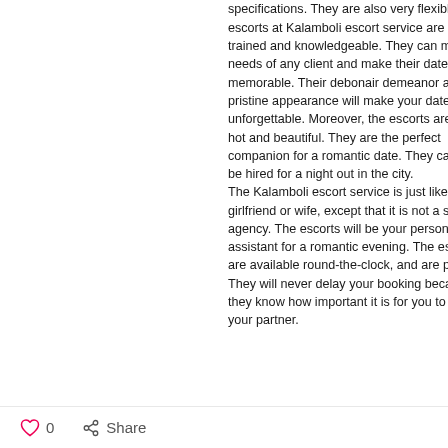specifications. They are also very flexible. The escorts at Kalamboli escort service are well-trained and knowledgeable. They can meet the needs of any client and make their date memorable. Their debonair demeanor and pristine appearance will make your date unforgettable. Moreover, the escorts are very hot and beautiful. They are the perfect companion for a romantic date. They can also be hired for a night out in the city.
The Kalamboli escort service is just like your girlfriend or wife, except that it is not a sex agency. The escorts will be your personal assistant for a romantic evening. The escorts are available round-the-clock, and are punctual. They will never delay your booking because they know how important it is for you to be with your partner.
0   Share